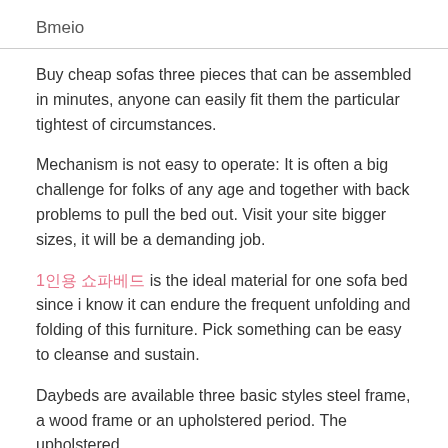Bmeio
Buy cheap sofas three pieces that can be assembled in minutes, anyone can easily fit them the particular tightest of circumstances.
Mechanism is not easy to operate: It is often a big challenge for folks of any age and together with back problems to pull the bed out. Visit your site bigger sizes, it will be a demanding job.
1인용 쇼파베드 is the ideal material for one sofa bed since i know it can endure the frequent unfolding and folding of this furniture. Pick something can be easy to cleanse and sustain.
Daybeds are available three basic styles steel frame, a wood frame or an upholstered period. The upholstered